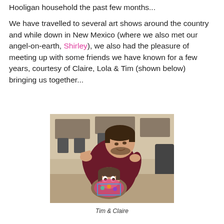Hooligan household the past few months...
We have travelled to several art shows around the country and while down in New Mexico (where we also met our angel-on-earth, Shirley), we also had the pleasure of meeting up with some friends we have known for a few years, courtesy of Claire, Lola & Tim (shown below) bringing us together...
[Figure (photo): A young man in a maroon hoodie leans over a girl in a wheelchair in what appears to be a restaurant setting. The girl is wearing a colorful scarf/bib. Tables and chairs are visible in the background.]
Tim & Claire